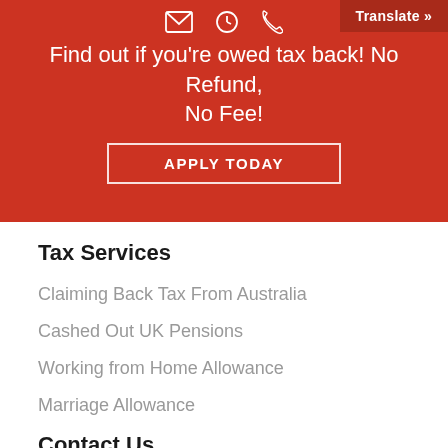[Figure (screenshot): Red header banner with email, clock, and phone icons, and a Translate button in the top right corner]
Find out if you're owed tax back! No Refund, No Fee!
APPLY TODAY
Tax Services
Claiming Back Tax From Australia
Cashed Out UK Pensions
Working from Home Allowance
Marriage Allowance
Contact Us